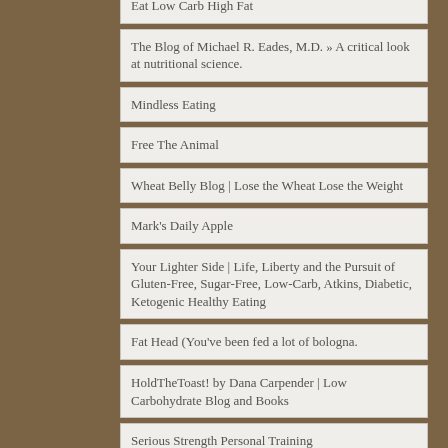Eat Low Carb High Fat
The Blog of Michael R. Eades, M.D. » A critical look at nutritional science.
Mindless Eating
Free The Animal
Wheat Belly Blog | Lose the Wheat Lose the Weight
Mark's Daily Apple
Your Lighter Side | Life, Liberty and the Pursuit of Gluten-Free, Sugar-Free, Low-Carb, Atkins, Diabetic, Ketogenic Healthy Eating
Fat Head (You've been fed a lot of bologna.
HoldTheToast! by Dana Carpender | Low Carbohydrate Blog and Books
Serious Strength Personal Training